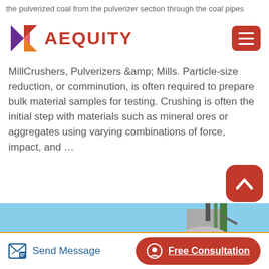the pulverized coal from the pulverizer section through the coal pipes
[Figure (logo): AEQUITY logo with geometric arrow icon in red/purple/orange and red text, plus hamburger menu button]
MillCrushers, Pulverizers &amp; Mills. Particle-size reduction, or comminution, is often required to prepare bulk material samples for testing. Crushing is often the initial step with materials such as mineral ores or aggregates using varying combinations of force, impact, and …
[Figure (photo): Industrial mill or grinding equipment photographed against blue sky, showing large cylindrical drum and metal tower structure with green scaffolding]
Send Message  Free Consultation